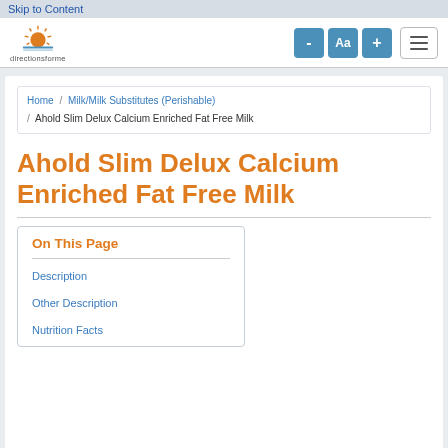Skip to Content
[Figure (logo): directionsforme website logo with sun icon]
- Aa +
breadcrumb navigation: Home / Milk/Milk Substitutes (Perishable) / Ahold Slim Delux Calcium Enriched Fat Free Milk
Ahold Slim Delux Calcium Enriched Fat Free Milk
On This Page
Description
Other Description
Nutrition Facts